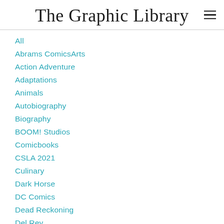The Graphic Library
All
Abrams ComicsArts
Action Adventure
Adaptations
Animals
Autobiography
Biography
BOOM! Studios
Comicbooks
CSLA 2021
Culinary
Dark Horse
DC Comics
Dead Reckoning
Del Rey
Demons